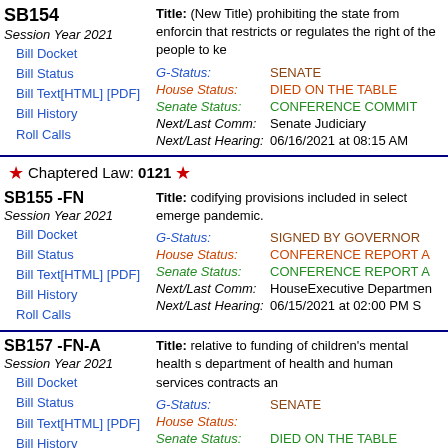SB154
Session Year 2021
Bill Docket
Bill Status
Bill Text[HTML] [PDF]
Bill History
Roll Calls
Title: (New Title) prohibiting the state from enforcing that restricts or regulates the right of the people to ke
G-Status: SENATE
House Status: DIED ON THE TABLE
Senate Status: CONFERENCE COMMIT
Next/Last Comm: Senate Judiciary
Next/Last Hearing: 06/16/2021 at 08:15 AM
Chaptered Law: 0121
SB155 -FN
Session Year 2021
Bill Docket
Bill Status
Bill Text[HTML] [PDF]
Bill History
Roll Calls
Title: codifying provisions included in select emerge pandemic.
G-Status: SIGNED BY GOVERNOR
House Status: CONFERENCE REPORT A
Senate Status: CONFERENCE REPORT A
Next/Last Comm: HouseExecutive Departmen
Next/Last Hearing: 06/15/2021 at 02:00 PM S
SB157 -FN-A
Session Year 2021
Bill Docket
Bill Status
Bill Text[HTML] [PDF]
Bill History
Roll Calls
Title: relative to funding of children's mental health s department of health and human services contracts an
G-Status: SENATE
House Status:
Senate Status: DIED ON THE TABLE
Next/Last Comm: Senate Finance